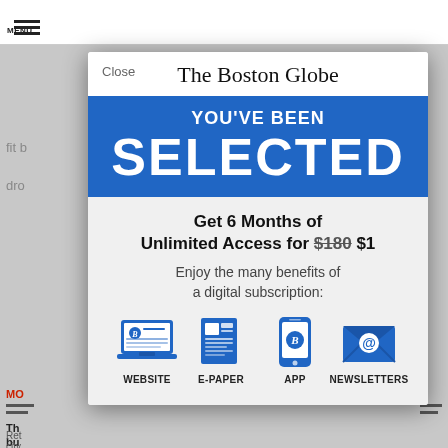[Figure (screenshot): Screenshot of The Boston Globe website subscription modal dialog overlay on a newspaper article page. The modal shows 'YOU'VE BEEN SELECTED' in a blue banner, followed by an offer for 6 months of unlimited access for $1 (regular price $180 struck through), benefits description, and four icons: Website, E-Paper, App, Newsletters.]
The Boston Globe
YOU'VE BEEN
SELECTED
Get 6 Months of Unlimited Access for $180 $1
Enjoy the many benefits of a digital subscription:
WEBSITE
E-PAPER
APP
NEWSLETTERS